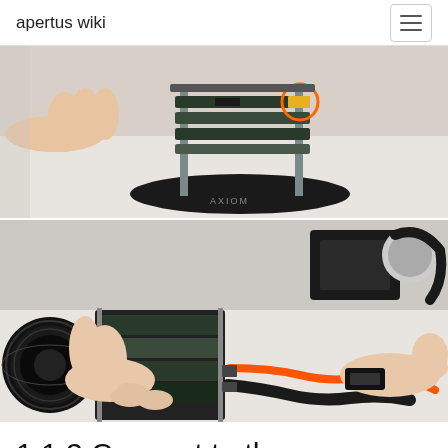apertus wiki
[Figure (photo): Two photographs of an Apertus open-source cinema camera. Top image shows the camera board assembly from above with an orange-circled highlighted component visible on the circuit board stack. Bottom image shows hands connecting an orange cable and a black connector to the camera body which has a camera lens attached on the left.]
1.1.2 Connect to the camera